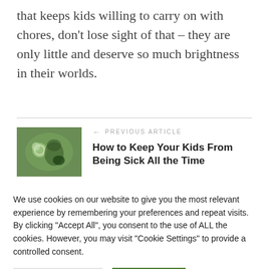that keeps kids willing to carry on with chores, don't lose sight of that – they are only little and deserve so much brightness in their worlds.
[Figure (photo): Child blowing bubbles outdoors, previous article thumbnail]
← PREVIOUS ARTICLE
How to Keep Your Kids From Being Sick All the Time
We use cookies on our website to give you the most relevant experience by remembering your preferences and repeat visits. By clicking "Accept All", you consent to the use of ALL the cookies. However, you may visit "Cookie Settings" to provide a controlled consent.
Cookie Settings   Accept All